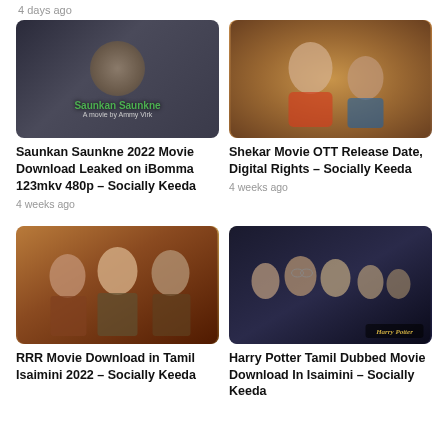4 days ago
[Figure (photo): Saunkan Saunkne movie poster — man in turban against dark background, green title text overlay]
Saunkan Saunkne 2022 Movie Download Leaked on iBomma 123mkv 480p – Socially Keeda
4 weeks ago
[Figure (photo): Shekar movie — older man with white beard and young woman smiling, warm wooden background]
Shekar Movie OTT Release Date, Digital Rights – Socially Keeda
4 weeks ago
[Figure (photo): RRR movie poster — three men in dramatic poses]
RRR Movie Download in Tamil Isaimini 2022 – Socially Keeda
[Figure (photo): Harry Potter Tamil Dubbed movie — Harry Potter and friends group photo, Harry Potter logo bottom right]
Harry Potter Tamil Dubbed Movie Download In Isaimini – Socially Keeda